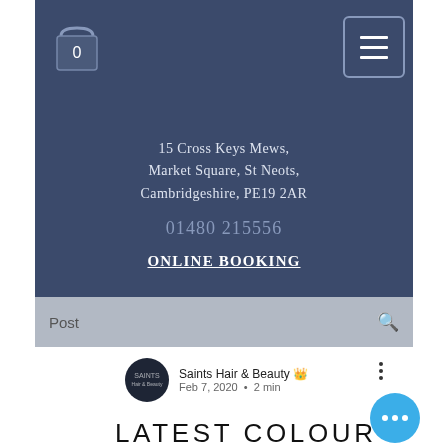[Figure (screenshot): Dark navy blue website header section with shopping bag icon (showing 0), hamburger menu button, address, phone number, and Online Booking link]
15 Cross Keys Mews, Market Square, St Neots, Cambridgeshire, PE19 2AR
01480 215556
Online Booking
Post
Saints Hair & Beauty
Feb 7, 2020  •  2 min
LATEST COLOUR